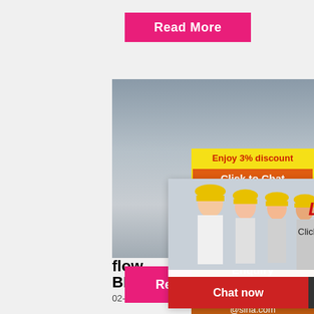[Figure (other): Pink 'Read More' button at top]
[Figure (photo): Construction/mining site aerial photo with gray landscape]
[Figure (photo): Live Chat popup overlay with workers/woman in hard hats, 'LIVE CHAT - Click for a Free Consultation', Chat now and Chat later buttons]
flow
BIN
02-05-2013 · Copper Mining Process Flo...
[Figure (infographic): Orange sidebar with mining machines images, yellow 'Enjoy 3% discount' bar, orange 'Click to Chat' bar, Enquiry section with limingjlmofen@sina.com]
Enquiry
limingjlmofen
@sina.com
[Figure (other): Pink 'Read More' button at bottom]